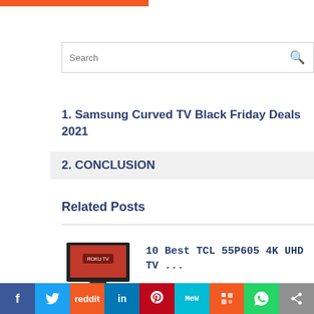[Figure (other): Orange bar at top left of page]
[Figure (screenshot): Search box with placeholder text 'Search' and a search icon on the right]
1. Samsung Curved TV Black Friday Deals 2021
2. CONCLUSION
Related Posts
[Figure (photo): Thumbnail image of a TCL TV with orange underline below]
10 Best TCL 55P605 4K UHD TV ...
[Figure (other): Social sharing bar with icons: Facebook, Twitter, Reddit, LinkedIn, Pinterest, MeWe, Mix, WhatsApp, Share]